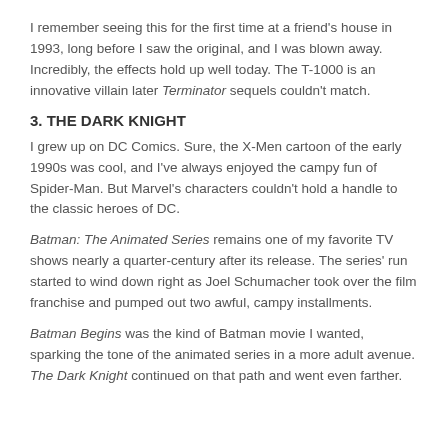I remember seeing this for the first time at a friend's house in 1993, long before I saw the original, and I was blown away. Incredibly, the effects hold up well today. The T-1000 is an innovative villain later Terminator sequels couldn't match.
3. THE DARK KNIGHT
I grew up on DC Comics. Sure, the X-Men cartoon of the early 1990s was cool, and I've always enjoyed the campy fun of Spider-Man. But Marvel's characters couldn't hold a handle to the classic heroes of DC.
Batman: The Animated Series remains one of my favorite TV shows nearly a quarter-century after its release. The series' run started to wind down right as Joel Schumacher took over the film franchise and pumped out two awful, campy installments.
Batman Begins was the kind of Batman movie I wanted, sparking the tone of the animated series in a more adult avenue. The Dark Knight continued on that path and went even farther.